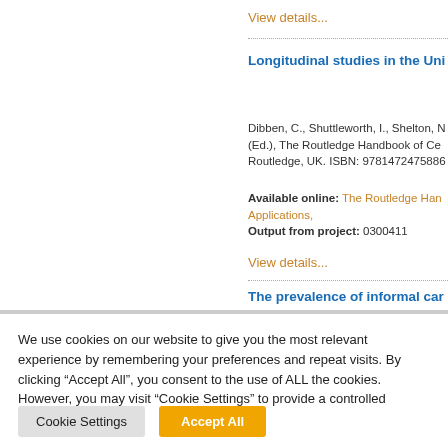View details...
Longitudinal studies in the Uni
Dibben, C., Shuttleworth, I., Shelton, N (Ed.), The Routledge Handbook of Ce Routledge, UK. ISBN: 9781472475886
Available online: The Routledge Han Applications, Output from project: 0300411
View details...
The prevalence of informal car Longitudinal research using ce
We use cookies on our website to give you the most relevant experience by remembering your preferences and repeat visits. By clicking "Accept All", you consent to the use of ALL the cookies. However, you may visit "Cookie Settings" to provide a controlled consent.